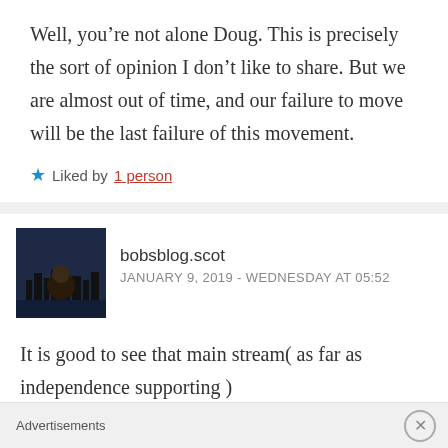Well, you’re not alone Doug. This is precisely the sort of opinion I don’t like to share. But we are almost out of time, and our failure to move will be the last failure of this movement.
★ Liked by 1 person
bobsblog.scot
JANUARY 9, 2019 - WEDNESDAY AT 05:52
It is good to see that main stream( as far as independence supporting )
Advertisements